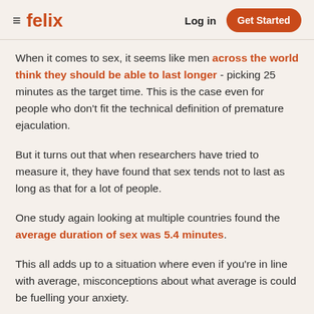≡ felix   Log in   Get Started
When it comes to sex, it seems like men across the world think they should be able to last longer - picking 25 minutes as the target time. This is the case even for people who don't fit the technical definition of premature ejaculation.
But it turns out that when researchers have tried to measure it, they have found that sex tends not to last as long as that for a lot of people.
One study again looking at multiple countries found the average duration of sex was 5.4 minutes.
This all adds up to a situation where even if you're in line with average, misconceptions about what average is could be fuelling your anxiety.